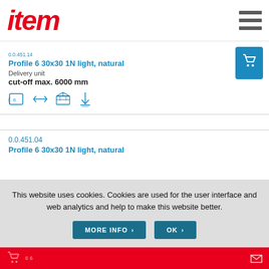item
Profile 6 30x30 1N light, natural
Delivery unit
cut-off max. 6000 mm
[Figure (other): Product icons: returnable packaging, bidirectional arrow, delivery box, height-adjustable icon]
0.0.451.04
Profile 6 30x30 1N light, natural
This website uses cookies. Cookies are used for the user interface and web analytics and help to make this website better.
MORE INFO > OK >